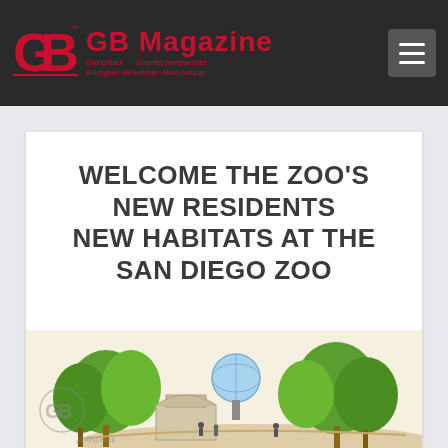GB Magazine — Giving Back / Grandes Benefactores · Bi-Lingual · Bi-National · Multi-Cultural
WELCOME THE ZOO'S NEW RESIDENTS NEW HABITATS AT THE SAN DIEGO ZOO
[Figure (illustration): Architectural illustration/rendering of a new zoo habitat area with trees, a globe structure, and visitors, with the GB Magazine watermark logo in the lower left corner.]